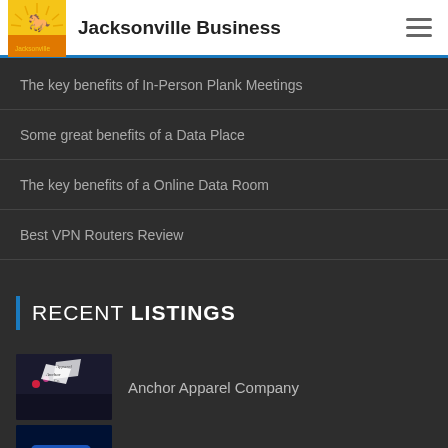Jacksonville Business
The key benefits of In-Person Plank Meetings
Some great benefits of a Data Place
The key benefits of a Online Data Room
Best VPN Routers Review
RECENT LISTINGS
Anchor Apparel Company